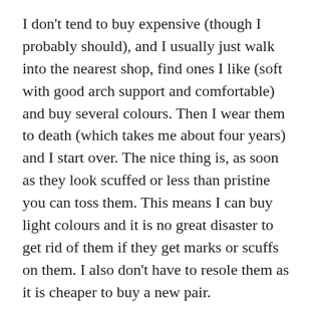I don't tend to buy expensive (though I probably should), and I usually just walk into the nearest shop, find ones I like (soft with good arch support and comfortable) and buy several colours. Then I wear them to death (which takes me about four years) and I start over. The nice thing is, as soon as they look scuffed or less than pristine you can toss them. This means I can buy light colours and it is no great disaster to get rid of them if they get marks or scuffs on them. I also don't have to resole them as it is cheaper to buy a new pair.
My previous ones were lovely. I bought them on 3 for 2 about four years ago and I got 2 gold pairs, 3 black pairs and one satin leopard print. I only got one satin leopard print as I felt they were not very practical, but I